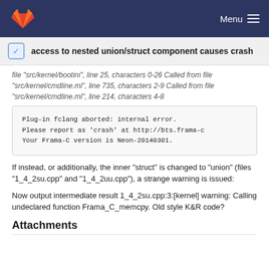Menu
access to nested union/struct component causes crash
file "src/kernel/bootini", line 25, characters 0-26 Called from file "src/kernel/cmdline.ml", line 735, characters 2-9 Called from file "src/kernel/cmdline.ml", line 214, characters 4-8
[Figure (screenshot): Code block showing: Plug-in fclang aborted: internal error. Please report as 'crash' at http://bts.frama-c. Your Frama-C version is Neon-20140301.]
If instead, or additionally, the inner "struct" is changed to "union" (files "1_4_2su.cpp" and "1_4_2uu.cpp"), a strange warning is issued:
Now output intermediate result 1_4_2su.cpp:3:[kernel] warning: Calling undeclared function Frama_C_memcpy. Old style K&R code?
Attachments